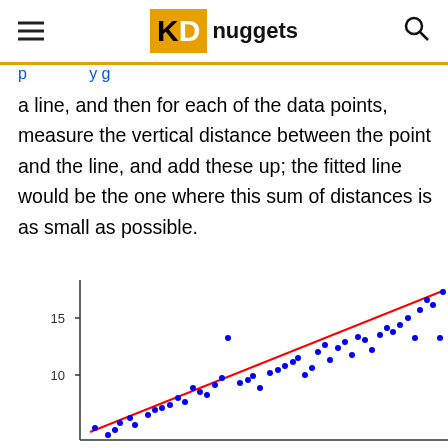KD nuggets
p ... y g
a line, and then for each of the data points, measure the vertical distance between the point and the line, and add these up; the fitted line would be the one where this sum of distances is as small as possible.
[Figure (continuous-plot): Scatter plot with blue data points and a red fitted line showing a positive linear trend. Y-axis shows values 10 and 15. The scatter of points ranges roughly from lower-left to upper-right with the red regression line running through them.]